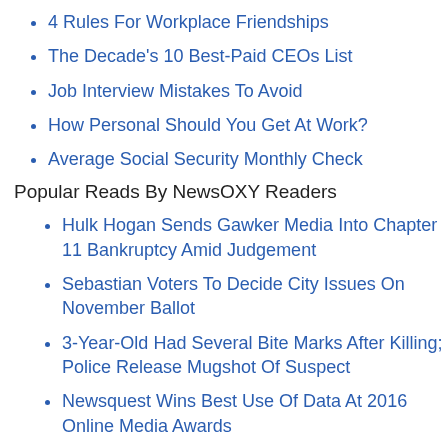4 Rules For Workplace Friendships
The Decade's 10 Best-Paid CEOs List
Job Interview Mistakes To Avoid
How Personal Should You Get At Work?
Average Social Security Monthly Check
Popular Reads By NewsOXY Readers
Hulk Hogan Sends Gawker Media Into Chapter 11 Bankruptcy Amid Judgement
Sebastian Voters To Decide City Issues On November Ballot
3-Year-Old Had Several Bite Marks After Killing; Police Release Mugshot Of Suspect
Newsquest Wins Best Use Of Data At 2016 Online Media Awards
Lakeland Alligator Found In Lake Hunter With Dead